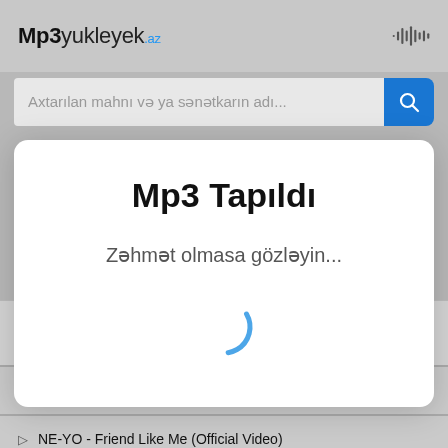Mp3yukleyek.az
Axtarılan mahnı və ya sənətkarın adı...
Mp3 Tapıldı
Zəhmət olmasa gözləyin...
[Figure (other): Loading spinner - circular arc in blue]
Mena Massoud, Naomi Scott - A Whole New World (from Aladdin) (Official Video)
Naomi Scott - Speechless (from Aladdin) (Official Video)
NE-YO - Friend Like Me (Official Video)